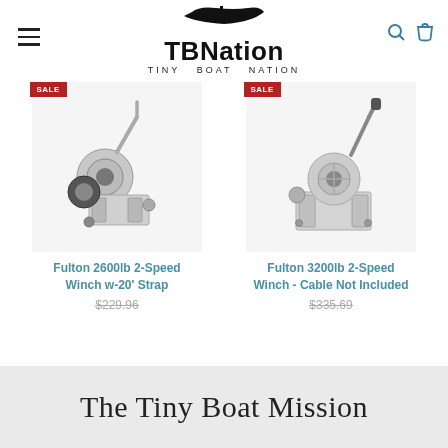[Figure (logo): TBNation - Tiny Boat Nation logo with boat silhouette above bold text]
[Figure (photo): Product photo of Fulton 2600lb 2-Speed Winch w-20' Strap, metallic silver winch with strap spool]
Fulton 2600lb 2-Speed Winch w-20' Strap
$229.96
[Figure (photo): Product photo of Fulton 3200lb 2-Speed Winch - Cable Not Included, silver winch with crank handle]
Fulton 3200lb 2-Speed Winch - Cable Not Included
$335.69
The Tiny Boat Mission